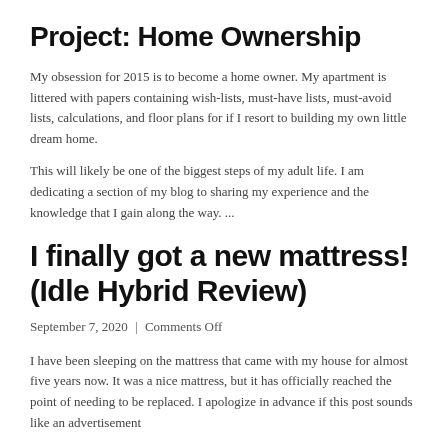Project: Home Ownership
My obsession for 2015 is to become a home owner. My apartment is littered with papers containing wish-lists, must-have lists, must-avoid lists, calculations, and floor plans for if I resort to building my own little dream home.
This will likely be one of the biggest steps of my adult life. I am dedicating a section of my blog to sharing my experience and the knowledge that I gain along the way. ...
I finally got a new mattress! (Idle Hybrid Review)
September 7, 2020  |  Comments Off
I have been sleeping on the mattress that came with my house for almost five years now. It was a nice mattress, but it has officially reached the point of needing to be replaced. I apologize in advance if this post sounds like an advertisement